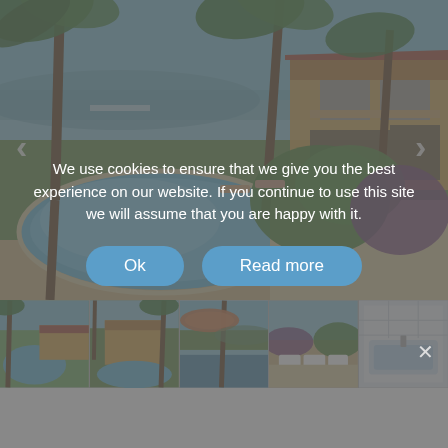[Figure (photo): Aerial/elevated view of luxury resort-style villa complex with swimming pool, tropical palm trees, lush green garden, and Mediterranean-style yellow building. Blue sky and distant hills in background. Left and right navigation arrows visible on edges.]
[Figure (photo): Row of 5 thumbnail photos of the same property: pool views, building exterior with palms, sea view from terrace, outdoor terrace with white furniture, and interior bathroom/bedroom.]
We use cookies to ensure that we give you the best experience on our website. If you continue to use this site we will assume that you are happy with it.